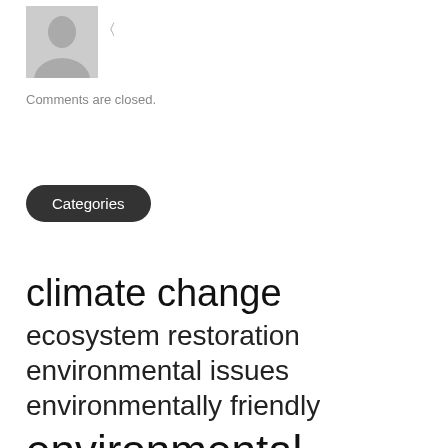[Figure (illustration): Generic user avatar silhouette icon in gray]
Comments are closed.
Categories
climate change
ecosystem restoration
environmental issues
environmentally friendly
environmental management